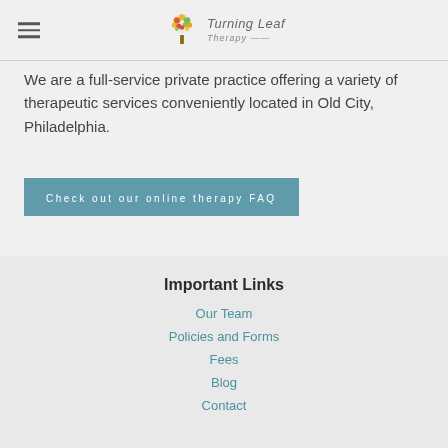Turning Leaf Therapy
We are a full-service private practice offering a variety of therapeutic services conveniently located in Old City, Philadelphia.
Check out our online therapy FAQ
Important Links
Our Team
Policies and Forms
Fees
Blog
Contact